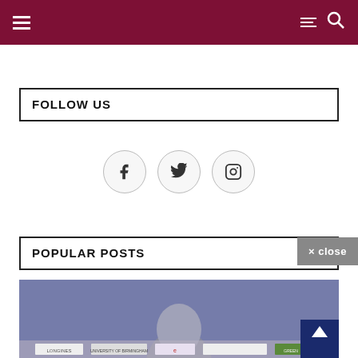Navigation header with hamburger menu and search icon
FOLLOW US
[Figure (infographic): Three social media icons in circles: Facebook (f), Twitter (bird), Instagram (camera)]
POPULAR POSTS
× close
[Figure (photo): Photo of a person at a press conference with sponsor banners in the background]